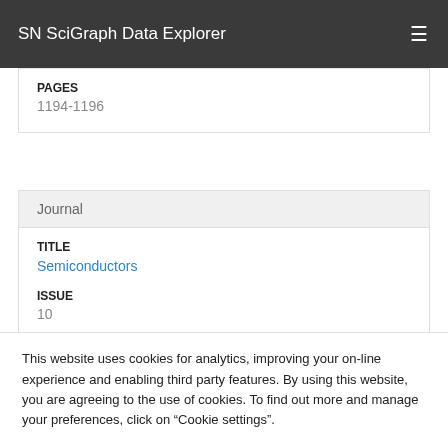SN SciGraph Data Explorer
PAGES
1194-1196
Journal
TITLE
Semiconductors
ISSUE
10
This website uses cookies for analytics, improving your on-line experience and enabling third party features. By using this website, you are agreeing to the use of cookies. To find out more and manage your preferences, click on “Cookie settings”.